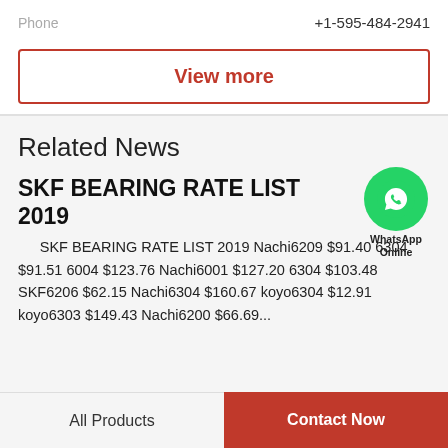Phone   +1-595-484-2941
View more
Related News
SKF BEARING RATE LIST 2019
SKF BEARING RATE LIST 2019 Nachi6209 $91.40 6304 $91.51 6004 $123.76 Nachi6001 $127.20 6304 $103.48 SKF6206 $62.15 Nachi6304 $160.67 koyo6304 $12.91 koyo6303 $149.43 Nachi6200 $66.69...
All Products   Contact Now